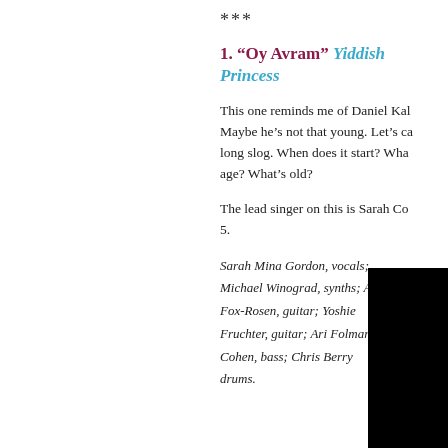***
1. “Oy Avram” Yiddish Princess
This one reminds me of Daniel Kal... Maybe he’s not that young. Let’s ca... long slog. When does it start? Wha... age? What’s old?
The lead singer on this is Sarah Co... 5.
Sarah Mina Gordon, vocals; Michael Winograd, synths; Avi Fox-Rosen, guitar; Yoshie Fruchter, guitar; Ari Folman-Cohen, bass; Chris Berry drums.